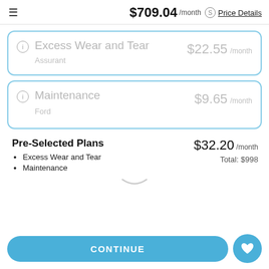$709.04 /month  Price Details
Excess Wear and Tear — $22.55 /month — Assurant
Maintenance — $9.65 /month — Ford
Pre-Selected Plans
• Excess Wear and Tear
• Maintenance
$32.20 /month
Total: $998
CONTINUE